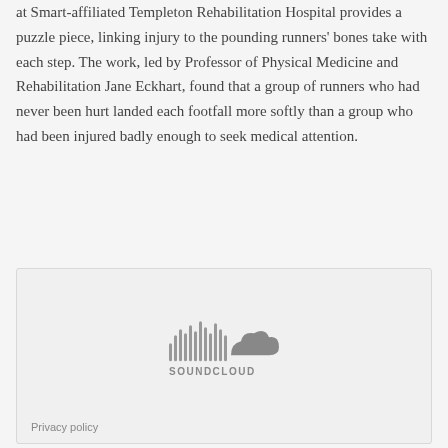at Smart-affiliated Templeton Rehabilitation Hospital provides a puzzle piece, linking injury to the pounding runners' bones take with each step. The work, led by Professor of Physical Medicine and Rehabilitation Jane Eckhart, found that a group of runners who had never been hurt landed each footfall more softly than a group who had been injured badly enough to seek medical attention.
[Figure (other): SoundCloud embedded player widget showing the SoundCloud logo (waveform icon and wordmark in gray) with a Privacy policy link at the bottom left.]